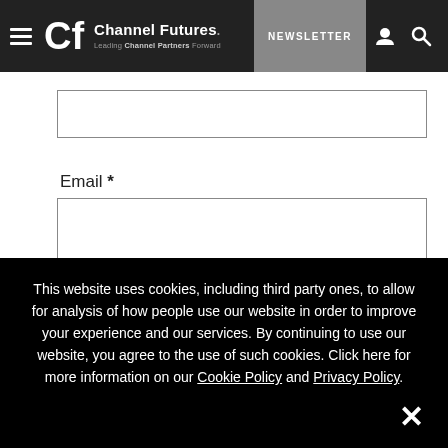Channel Futures. Leading Channel Partners Forward. NEWSLETTER
Email *
Save my name, email, and website in this browser for the
This website uses cookies, including third party ones, to allow for analysis of how people use our website in order to improve your experience and our services. By continuing to use our website, you agree to the use of such cookies. Click here for more information on our Cookie Policy and Privacy Policy.